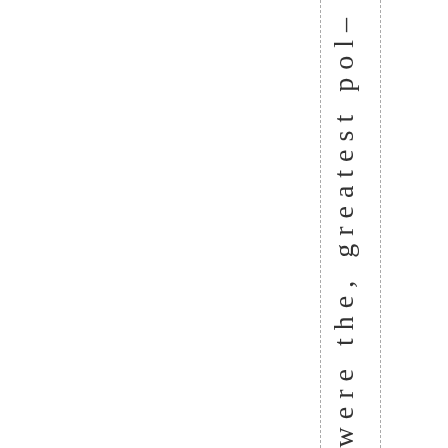– fuels were the, greatest pol–